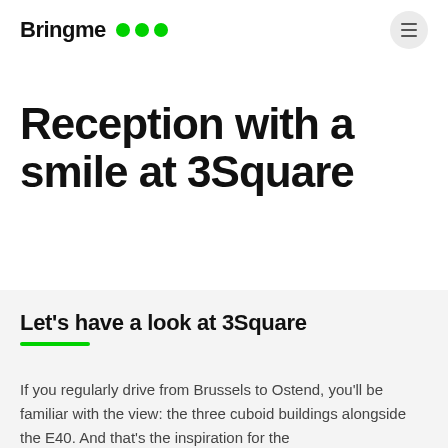Bringme
Reception with a smile at 3Square
Let's have a look at 3Square
If you regularly drive from Brussels to Ostend, you'll be familiar with the view: the three cuboid buildings alongside the E40. And that's the inspiration for the